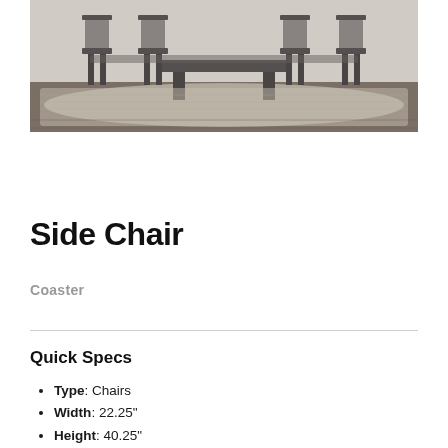[Figure (photo): Dining room scene showing dark gray/charcoal chairs and a bench around a dining table on a patterned area rug with hardwood flooring]
Side Chair
Coaster
Quick Specs
Type: Chairs
Width: 22.25"
Height: 40.25"
Length: 19.25"